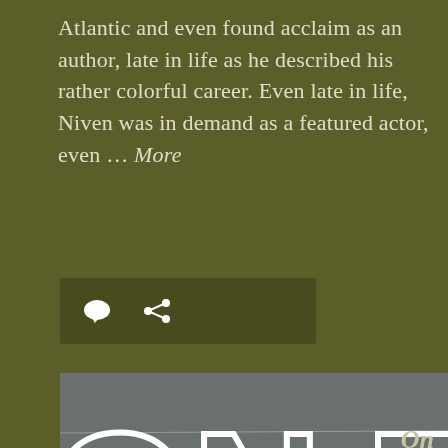Atlantic and even found acclaim as an author, late in life as he described his rather colorful career. Even late in life, Niven was in demand as a featured actor, even ... More
[Figure (screenshot): Icon bar with comment bubble and share/link icons on dark olive background]
[Figure (photo): Black and white movie title card showing 'ON THE BEACH' in large chalky hand-drawn letters on a dark background. The image is cropped so only 'ON THI' is visible on the top row and 'BEAC H' on the bottom row.]
On